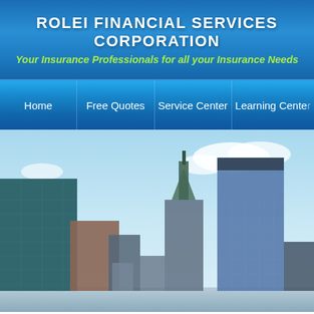ROLEI FINANCIAL SERVICES CORPORATION
Your Insurance Professionals for all your Insurance Needs
Home | Free Quotes | Service Center | Learning Center
[Figure (photo): City skyline photograph showing skyscrapers including the Woolworth Building and modern glass towers against a blue sky with clouds]